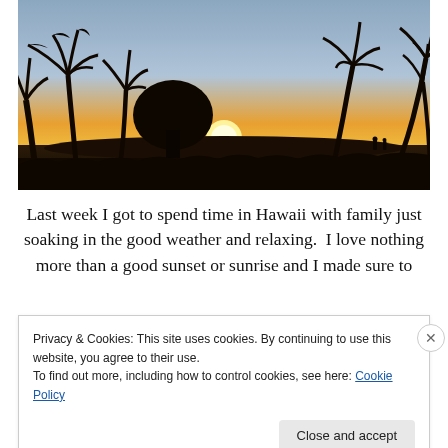[Figure (photo): A tropical beach sunset scene with silhouetted palm trees, a bright orange-yellow sun setting on the horizon, and a blue-grey sky. Two small human figures are visible at right. The foreground shows dark grass and land.]
Last week I got to spend time in Hawaii with family just soaking in the good weather and relaxing.  I love nothing more than a good sunset or sunrise and I made sure to
Privacy & Cookies: This site uses cookies. By continuing to use this website, you agree to their use.
To find out more, including how to control cookies, see here: Cookie Policy
Close and accept